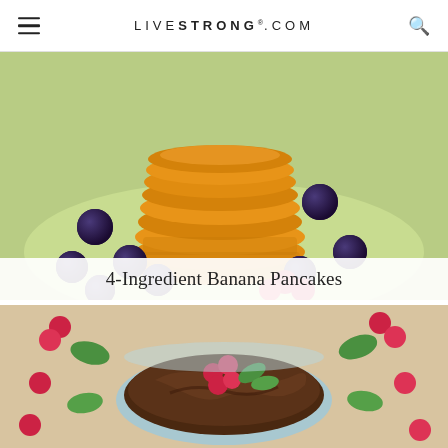LIVESTRONG.COM
[Figure (photo): Stack of golden banana pancakes with blueberries and raspberries on a light green plate]
4-Ingredient Banana Pancakes
[Figure (photo): Bowl of chocolate mousse topped with raspberries and mint leaves, surrounded by raspberries and mint leaves on a beige surface]